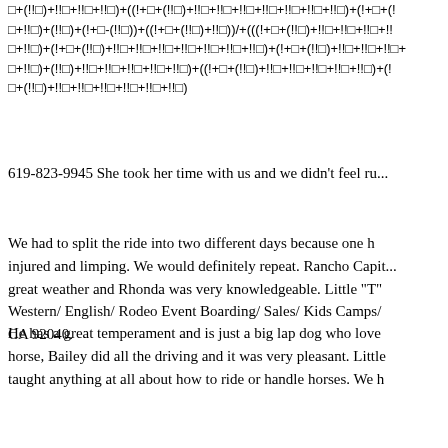□+(!!□)+!!□+!!□+!!□)+((!+□+(!!□)+!!□+!!□+!!□+!!□+!!□+!!□+!!□)+(!+□+(!!□+!!□)+(!!□)+(!+□-(!!□))+((!+□+(!!□)+!!□))/+(((!+□+(!!□)+!!□+!!□+!!□+!!□+!!□+!!□)+(!+□+(!!□)+!!□+!!□+!!□+!!□+!!□+!!□+!!□)+(!+□+(!!□)+!!□+!!□+!!□+!!□+!!□+!!□)+(!+□+(!!□)+!!□+!!□+!!□+!!□+!!□+!!□)+(!+□+(!!□)+!!□+!!□+!!□+!!□+!!□+!!□)+(!!□)+!!□+!!□+!!□+!!□+!!□)+((!+□+(!!□)+!!□+!!□+!!□+!!□+!!□)+(!+□+(!!□)+!!□
619-823-9945 She took her time with us and we didn't feel ru...
We had to split the ride into two different days because one h... injured and limping. We would definitely repeat. Rancho Capit... great weather and Rhonda was very knowledgeable. Little "T" Western/ English/ Rodeo Event Boarding/ Sales/ Kids Camps/ CA 92040.
He has a great temperament and is just a big lap dog who love... horse, Bailey did all the driving and it was very pleasant. Little taught anything at all about how to ride or handle horses. We h...